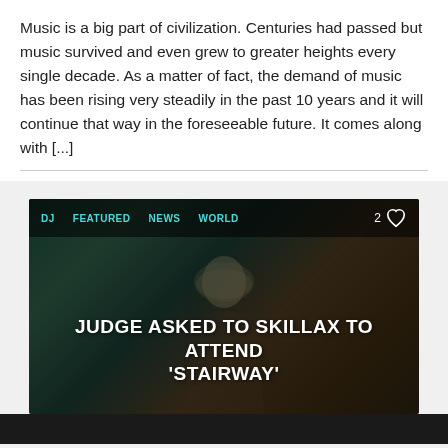Music is a big part of civilization. Centuries had passed but music survived and even grew to greater heights every single decade. As a matter of fact, the demand of music has been rising very steadily in the past 10 years and it will continue that way in the foreseeable future. It comes along with [...]
[Figure (photo): A dark-toned card/thumbnail image showing a person (blonde woman smiling) in a forested outdoor setting with teal/green atmospheric smoke. Overlaid tags: DJ, FEATURED, NEWS, WORLD with a heart/like count of 2. Large headline text: JUDGE ASKED TO SKILLAX TO ATTEND 'STAIRWAY']